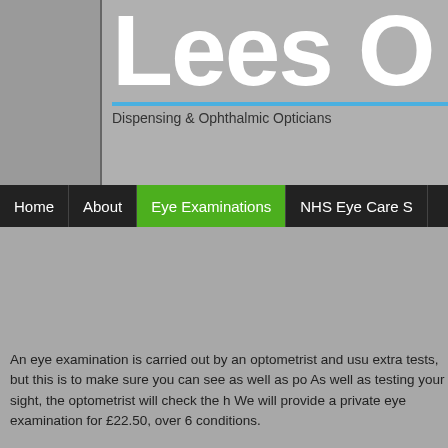Lees O
Dispensing & Ophthalmic Opticians
Home | About | Eye Examinations | NHS Eye Care S
An eye examination is carried out by an optometrist and usu extra tests, but this is to make sure you can see as well as po As well as testing your sight, the optometrist will check the h We will provide a private eye examination for £22.50, over 6 conditions.